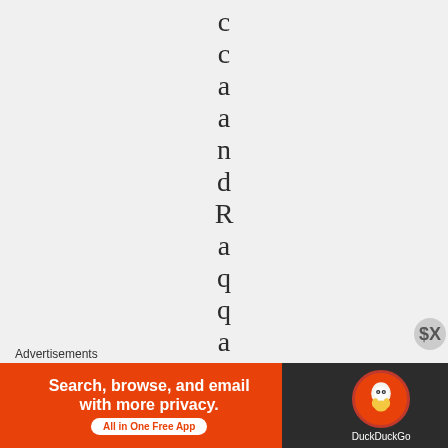c c a a n d R a q q a , I
Advertisements
[Figure (infographic): DuckDuckGo advertisement banner: 'Search, browse, and email with more privacy. All in One Free App' with DuckDuckGo logo on dark background]